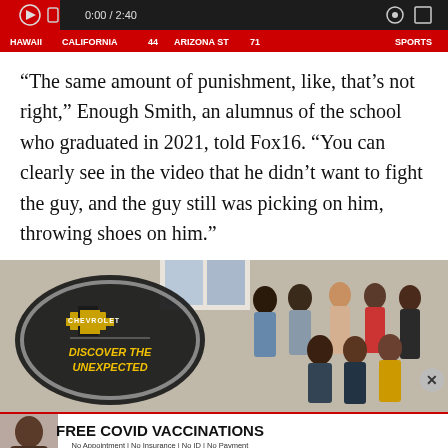[Figure (screenshot): Video player control bar showing timestamp 0:00/2:40, with a red ticker showing sports scores: CALIFORNIA 44, ARIZONA ST 71, and SPORTS label]
“The same amount of punishment, like, that’s not right,” Enough Smith, an alumnus of the school who graduated in 2021, told Fox16. “You can clearly see in the video that he didn’t want to fight the guy, and the guy still was picking on him, throwing shoes on him.”
[Figure (photo): Chevrolet advertisement showing a group of young Black people posing together, with a Chevrolet bowtie logo and text reading DISCOVER THE UNEXPECTED inside a dark oval on the left side]
[Figure (screenshot): Free COVID Vaccinations advertisement banner: No Appointment | No Insurance | No ID | No Payment. FIND A LOCATION button with VAX HOU logo]